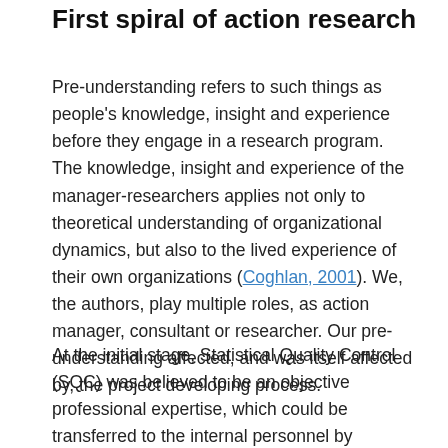First spiral of action research
Pre-understanding refers to such things as people's knowledge, insight and experience before they engage in a research program. The knowledge, insight and experience of the manager-researchers applies not only to theoretical understanding of organizational dynamics, but also to the lived experience of their own organizations (Coghlan, 2001). We, the authors, play multiple roles, as action manager, consultant or researcher. Our pre-understanding affected, and was itself affected by, the project developing process.
At the initial stage, Statistical Quality Control (SQC) was believed to be an objective professional expertise, which could be transferred to the internal personnel by